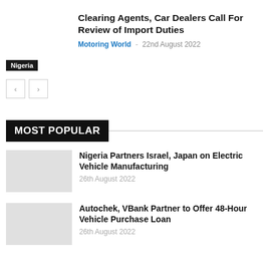Clearing Agents, Car Dealers Call For Review of Import Duties
Motoring World - 22nd August 2022
Nigeria
MOST POPULAR
Nigeria Partners Israel, Japan on Electric Vehicle Manufacturing
26th August 2022
Autochek, VBank Partner to Offer 48-Hour Vehicle Purchase Loan
26th August 2022